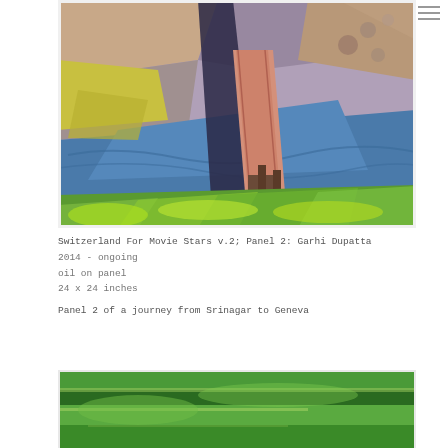[Figure (illustration): Oil painting showing an aerial/elevated view of a bridge over water with rocky terrain, pink/salmon colored bridge structure, blue water, green vegetation in foreground, rocky multicolored landscape]
Switzerland For Movie Stars v.2; Panel 2: Garhi Dupatta
2014 - ongoing
oil on panel
24 x 24 inches

Panel 2 of a journey from Srinagar to Geneva
[Figure (illustration): Partial view of another oil painting at the bottom, showing green abstract landscape with horizontal strokes in various shades of green]